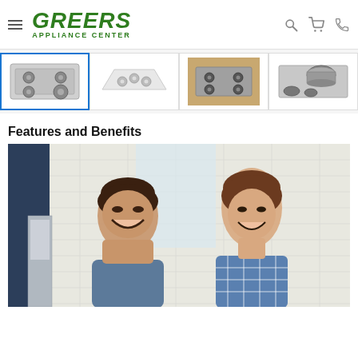[Figure (logo): Greers Appliance Center logo in green italic text with hamburger menu, search, cart, and phone icons]
[Figure (photo): Thumbnail strip of four cooktop/appliance product images; first one selected with blue border]
Features and Benefits
[Figure (photo): Lifestyle photo of a teenage boy and a woman smiling in a white-tiled kitchen]